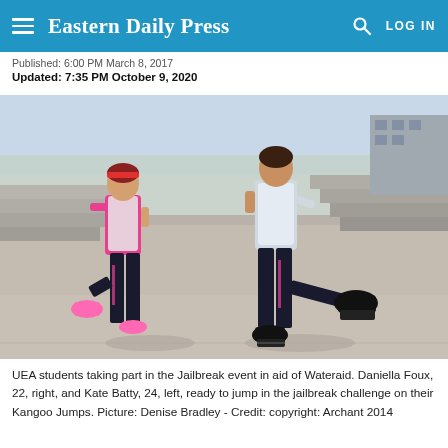Eastern Daily Press
Published: 6:00 PM March 8, 2017
Updated: 7:35 PM October 9, 2020
[Figure (photo): Two young women wearing WaterAid t-shirts and Kangoo Jump shoes posing with one leg raised outdoors on a plaza with steps in the background.]
UEA students taking part in the Jailbreak event in aid of Wateraid. Daniella Foux, 22, right, and Kate Batty, 24, left, ready to jump in the jailbreak challenge on their Kangoo Jumps. Picture: Denise Bradley - Credit: copyright: Archant 2014